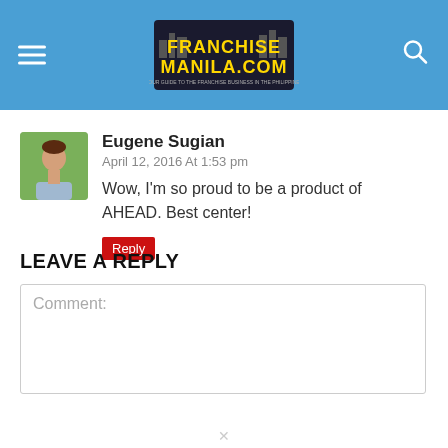FranchiseManila.com
Eugene Sugian
April 12, 2016 At 1:53 pm
Wow, I'm so proud to be a product of AHEAD. Best center!
Reply
LEAVE A REPLY
Comment: